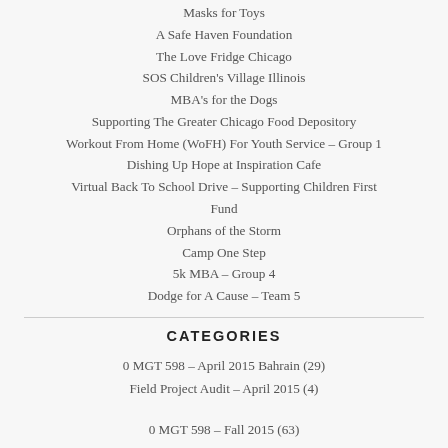Masks for Toys
A Safe Haven Foundation
The Love Fridge Chicago
SOS Children's Village Illinois
MBA's for the Dogs
Supporting The Greater Chicago Food Depository
Workout From Home (WoFH) For Youth Service – Group 1
Dishing Up Hope at Inspiration Cafe
Virtual Back To School Drive – Supporting Children First Fund
Orphans of the Storm
Camp One Step
5k MBA – Group 4
Dodge for A Cause – Team 5
CATEGORIES
0 MGT 598 – April 2015 Bahrain (29)
Field Project Audit – April 2015 (4)
0 MGT 598 – Fall 2015 (63)